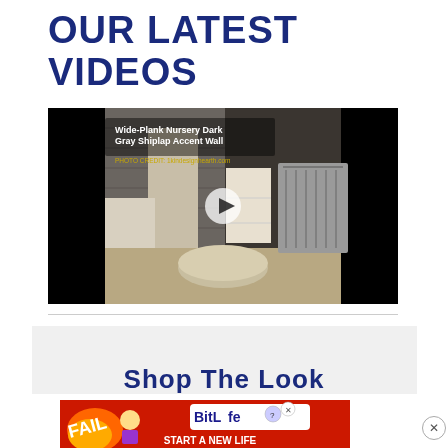OUR LATEST VIDEOS
[Figure (screenshot): Video player showing a nursery room with dark gray shiplap accent wall. Title overlay reads 'Wide-Plank Nursery Dark Gray Shiplap Accent Wall'. Photo credit: 1kindesignhearth.com. Play button visible in center.]
[Figure (screenshot): Partial 'Shop The Look' section banner with light gray background and dark blue text.]
[Figure (screenshot): Advertisement banner for BitLife game with red fiery background, cartoon character, and text 'START A NEW LIFE']